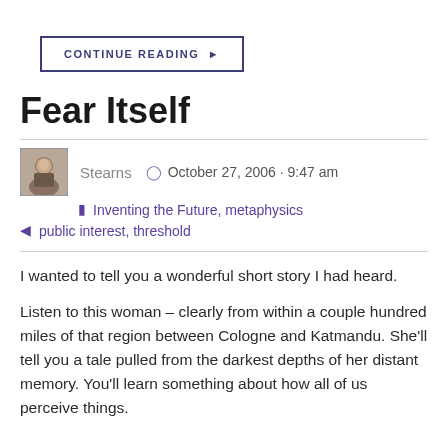CONTINUE READING ▶
Fear Itself
Stearns  ⊙  October 27, 2006 · 9:47 am
📁 Inventing the Future, metaphysics
🏷 public interest, threshold
I wanted to tell you a wonderful short story I had heard.
Listen to this woman – clearly from within a couple hundred miles of that region between Cologne and Katmandu. She'll tell you a tale pulled from the darkest depths of her distant memory. You'll learn something about how all of us perceive things.